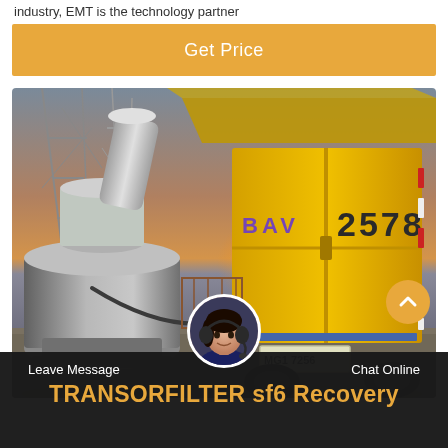industry, EMT is the technology partner
[Figure (other): Orange/amber 'Get Price' button with white text on amber background]
[Figure (photo): Industrial electrical substation scene at sunset/dusk with a yellow truck (marked 'BAV 2578') and gray cylindrical transformer equipment, transmission towers in background]
[Figure (other): Scroll-to-top circular orange button with upward chevron arrow]
[Figure (other): Customer service chat avatar - woman with headset]
Leave Message   TRANSORFILTER sf6 Recovery   Chat Online